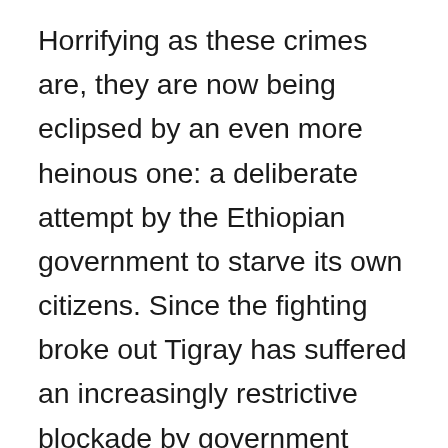Horrifying as these crimes are, they are now being eclipsed by an even more heinous one: a deliberate attempt by the Ethiopian government to starve its own citizens. Since the fighting broke out Tigray has suffered an increasingly restrictive blockade by government forces. Since July it has received only a fraction of the food needed to keep its 6m inhabitants alive, hardly any fuel and no medical supplies at all. More than 5m people do not have enough to eat. Some 400,000 of those are facing what aid